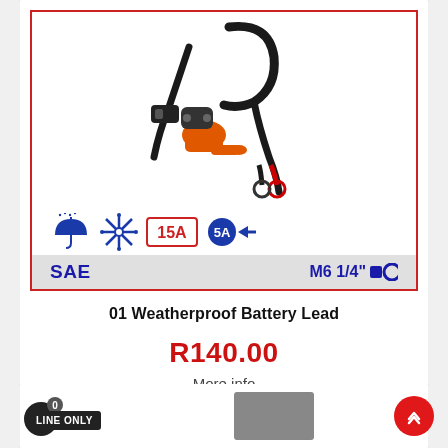[Figure (photo): Weatherproof battery lead product photo showing black cable with SAE connector, orange weatherproof cap, and M6 ring terminal. Icons below show weatherproof, freeze-proof, 15A, and 5A ratings. Bottom bar shows SAE and M6 1/4 inch specs.]
01 Weatherproof Battery Lead
R140.00
More info
0
LINE ONLY